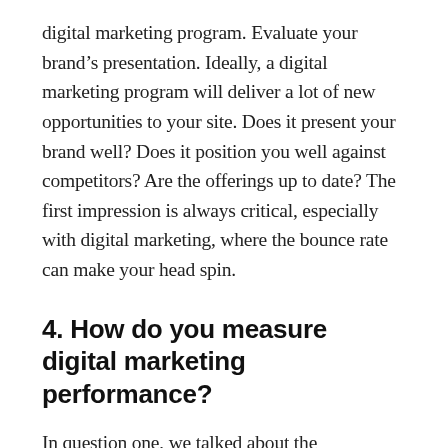digital marketing program. Evaluate your brand's presentation. Ideally, a digital marketing program will deliver a lot of new opportunities to your site. Does it present your brand well? Does it position you well against competitors? Are the offerings up to date? The first impression is always critical, especially with digital marketing, where the bounce rate can make your head spin.
4. How do you measure digital marketing performance?
In question one, we talked about the importance of setting goals. Now we'll look at how your goals should be measured. It's essential to establish